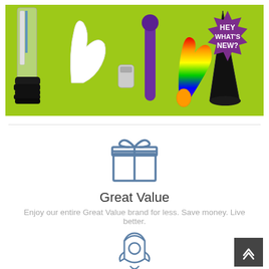[Figure (photo): Banner image on lime green background showing various adult products arranged in a row. A purple starburst badge in the top right reads 'HEY WHAT'S NEW?' in white bold text.]
[Figure (illustration): Gift box icon in blue outline style, centered below the banner.]
Great Value
Enjoy our entire Great Value brand for less. Save money. Live better.
[Figure (illustration): Rocket ship icon in blue outline style, partially visible at bottom center.]